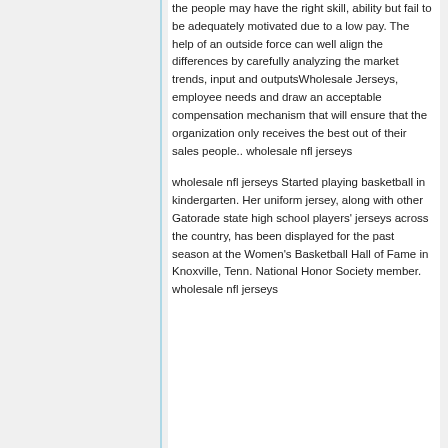the people may have the right skill, ability but fail to be adequately motivated due to a low pay. The help of an outside force can well align the differences by carefully analyzing the market trends, input and outputsWholesale Jerseys, employee needs and draw an acceptable compensation mechanism that will ensure that the organization only receives the best out of their sales people.. wholesale nfl jerseys
wholesale nfl jerseys Started playing basketball in kindergarten. Her uniform jersey, along with other Gatorade state high school players' jerseys across the country, has been displayed for the past season at the Women's Basketball Hall of Fame in Knoxville, Tenn. National Honor Society member. wholesale nfl jerseys